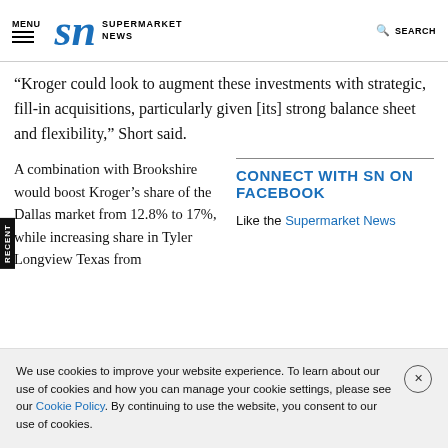MENU | SN SUPERMARKET NEWS | SEARCH
“Kroger could look to augment these investments with strategic, fill-in acquisitions, particularly given [its] strong balance sheet and flexibility,” Short said.
A combination with Brookshire would boost Kroger’s share of the Dallas market from 12.8% to 17%, while increasing share in Tyler Longview Texas from
CONNECT WITH SN ON FACEBOOK
Like the Supermarket News
We use cookies to improve your website experience. To learn about our use of cookies and how you can manage your cookie settings, please see our Cookie Policy. By continuing to use the website, you consent to our use of cookies.